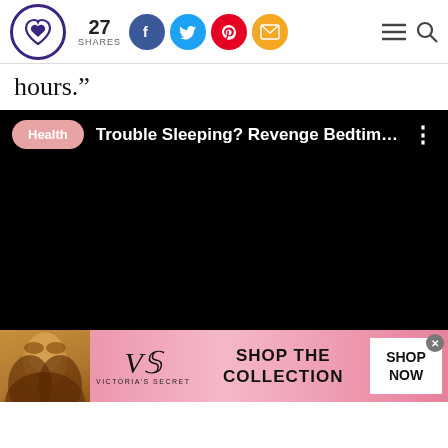27 SHARES [social share buttons: Facebook, Twitter, Pinterest, Email] [menu] [search]
hours.”
[Figure (screenshot): Embedded video player with black background. Top bar shows a pink 'Health' pill badge, video title 'Trouble Sleeping? Revenge Bedtime Pr...' in white text, and a three-dot menu icon on the right.]
[Figure (infographic): Victoria's Secret advertisement banner with pink gradient background. Shows a woman model on the left, Victoria's Secret VS logo and brand name in center-left, 'SHOP THE COLLECTION' text in the center, and 'SHOP NOW' button on the right. A close X button is at the top right.]